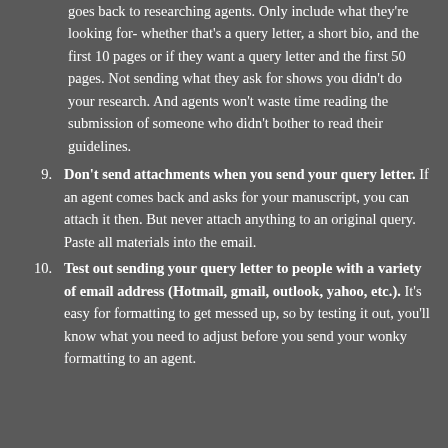goes back to researching agents. Only include what they're looking for- whether that's a query letter, a short bio, and the first 10 pages or if they want a query letter and the first 50 pages. Not sending what they ask for shows you didn't do your research. And agents won't waste time reading the submission of someone who didn't bother to read their guidelines.
9. Don't send attachments when you send your query letter. If an agent comes back and asks for your manuscript, you can attach it then. But never attach anything to an original query. Paste all materials into the email.
10. Test out sending your query letter to people with a variety of email address (Hotmail, gmail, outlook, yahoo, etc.). It's easy for formatting to get messed up, so by testing it out, you'll know what you need to adjust before you send your wonky formatting to an agent.